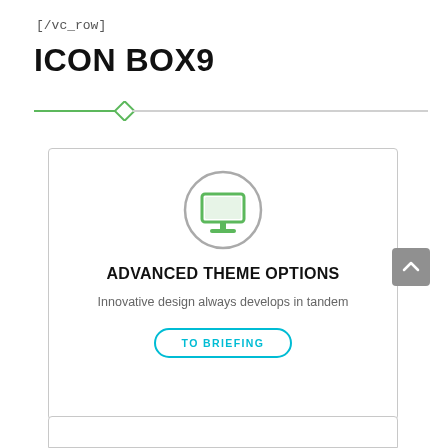[/vc_row]
ICON BOX9
[Figure (other): Horizontal divider line with a green diamond marker near the left side. The left portion of the line is green and the right portion is light gray.]
[Figure (illustration): A card/box with a rounded border containing: a gray circle with a green desktop monitor icon inside; bold text 'ADVANCED THEME OPTIONS'; descriptive text 'Innovative design always develops in tandem'; a cyan-bordered rounded button labeled 'TO BRIEFING'.]
ADVANCED THEME OPTIONS
Innovative design always develops in tandem
TO BRIEFING